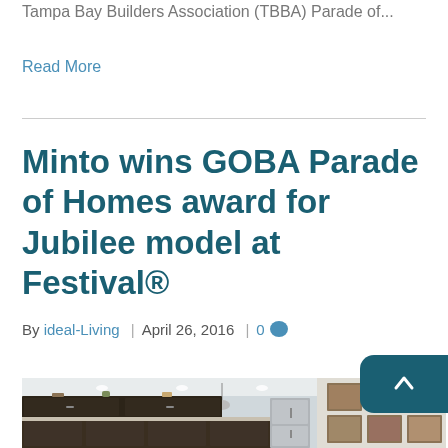Tampa Bay Builders Association (TBBA) Parade of...
Read More
Minto wins GOBA Parade of Homes award for Jubilee model at Festival®
By ideal-Living | April 26, 2016 | 0
[Figure (photo): Interior kitchen photo showing dark wood cabinets, stainless steel appliances, pendant lights, and framed artwork on the wall]